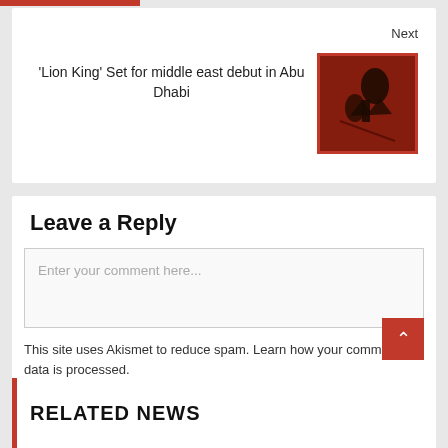Next
'Lion King' Set for middle east debut in Abu Dhabi
[Figure (photo): A theatrical scene from The Lion King stage production with dark, dramatic red-toned lighting showing performers in costume]
Leave a Reply
Enter your comment here...
This site uses Akismet to reduce spam. Learn how your comment data is processed.
RELATED NEWS